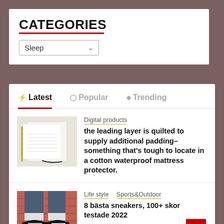CATEGORIES
Sleep
Latest  Popular  Trending
Digital products
the leading layer is quilted to supply additional padding–something that's tough to locate in a cotton waterproof mattress protector.
Life style  Sports&Outdoor
8 bästa sneakers, 100+ skor testade 2022